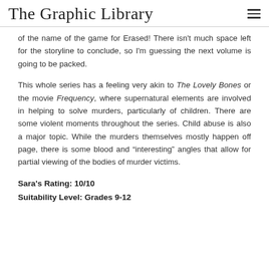The Graphic Library
of the name of the game for Erased! There isn't much space left for the storyline to conclude, so I'm guessing the next volume is going to be packed.
This whole series has a feeling very akin to The Lovely Bones or the movie Frequency, where supernatural elements are involved in helping to solve murders, particularly of children. There are some violent moments throughout the series. Child abuse is also a major topic. While the murders themselves mostly happen off page, there is some blood and “interesting” angles that allow for partial viewing of the bodies of murder victims.
Sara’s Rating: 10/10
Suitability Level: Grades 9-12